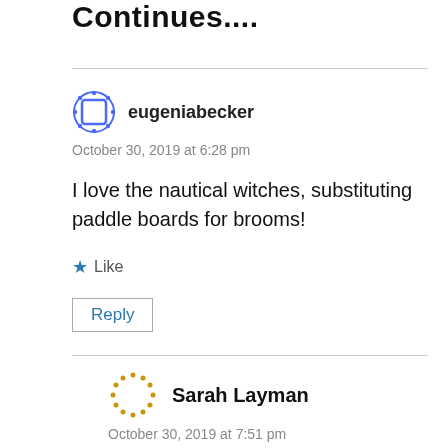Continues....
eugeniabecker
October 30, 2019 at 6:28 pm
I love the nautical witches, substituting paddle boards for brooms!
Like
Reply
Sarah Layman
October 30, 2019 at 7:51 pm